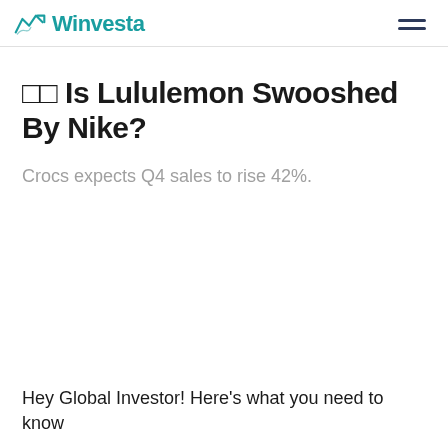Winvesta
🔲🔲 Is Lululemon Swooshed By Nike?
Crocs expects Q4 sales to rise 42%.
Hey Global Investor! Here's what you need to know